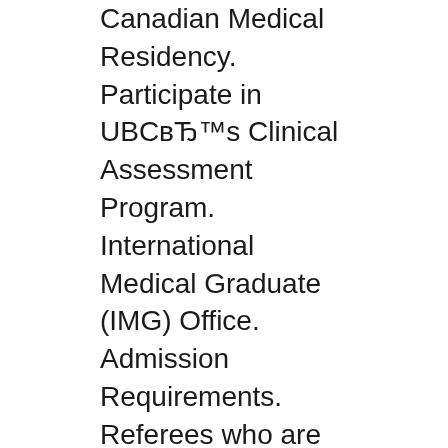Canadian Medical Residency. Participate in UBC’s Clinical Assessment Program. International Medical Graduate (IMG) Office. Admission Requirements. Referees who are unable to access the Graduate Studies online application site can complete submit a The University of British Columbia.
Welcome to the UBC Graduate program in advanced, orthopaedic physical therapy. The UBC Graduate Certificate in Orthopaedic Manipulative Physical Therapy (GCOMPT) is The following guidelines are active from 2018. If you were admitted before 2018, please consult the requirements on this page. Program Regulations For information